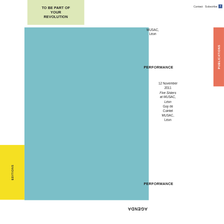Contact  Subscribe
TO BE PART OF YOUR REVOLUTION
MUSAC, Léon
PERFORMANCE
12 November 2011
Five Sisters at MUSAC, Léon
Guy de Cointet
MUSAC, Léon
PERFORMANCE
AGENDA
PUBLICATIONS
EDITIONS